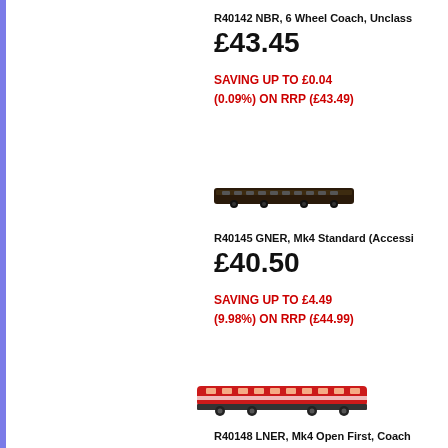R40142 NBR, 6 Wheel Coach, Unclass...
£43.45
SAVING UP TO £0.04 (0.09%) ON RRP (£43.49)
[Figure (photo): Small model train image - dark coloured 6 wheel coach]
R40145 GNER, Mk4 Standard (Accessi...
£40.50
SAVING UP TO £4.49 (9.98%) ON RRP (£44.99)
[Figure (photo): Small model train image - red and white LNER Mk4 coach]
R40148 LNER, Mk4 Open First, Coach...